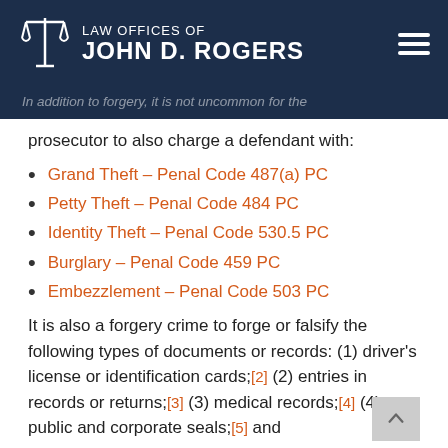LAW OFFICES OF JOHN D. ROGERS
In addition to forgery, it is not uncommon for the prosecutor to also charge a defendant with:
Grand Theft – Penal Code 487(a) PC
Petty Theft – Penal Code 484 PC
Identity Theft – Penal Code 530.5 PC
Burglary – Penal Code 459 PC
Embezzlement – Penal Code 503 PC
It is also a forgery crime to forge or falsify the following types of documents or records: (1) driver's license or identification cards;[2] (2) entries in records or returns;[3] (3) medical records;[4] (4) public and corporate seals;[5] and